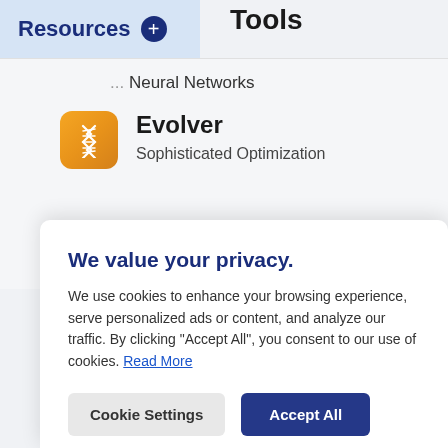Resources + Tools
... Neural Networks
Evolver
Sophisticated Optimization
We value your privacy.
We use cookies to enhance your browsing experience, serve personalized ads or content, and analyze our traffic. By clicking "Accept All", you consent to our use of cookies. Read More